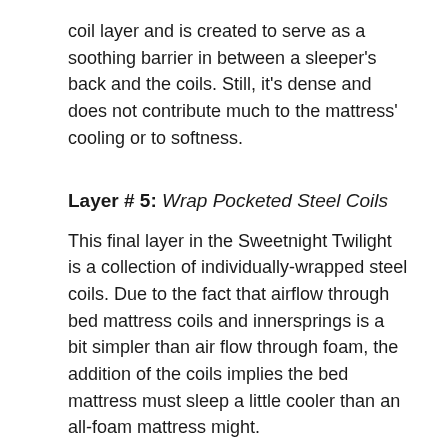coil layer and is created to serve as a soothing barrier in between a sleeper's back and the coils. Still, it's dense and does not contribute much to the mattress' cooling or to softness.
Layer # 5: Wrap Pocketed Steel Coils
This final layer in the Sweetnight Twilight is a collection of individually-wrapped steel coils. Due to the fact that airflow through bed mattress coils and innersprings is a bit simpler than air flow through foam, the addition of the coils implies the bed mattress must sleep a little cooler than an all-foam mattress might.